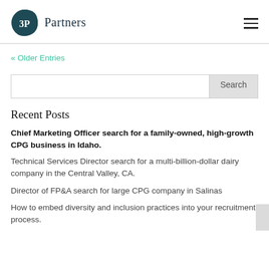3P Partners
« Older Entries
Search
Recent Posts
Chief Marketing Officer search for a family-owned, high-growth CPG business in Idaho.
Technical Services Director search for a multi-billion-dollar dairy company in the Central Valley, CA.
Director of FP&A search for large CPG company in Salinas
How to embed diversity and inclusion practices into your recruitment process.